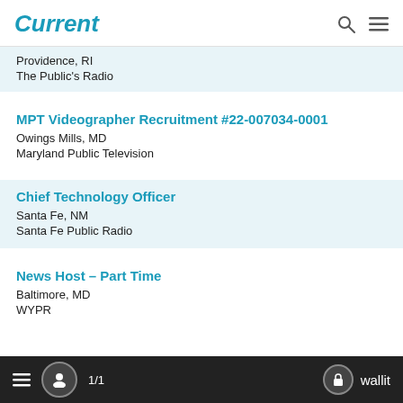Current
Providence, RI
The Public's Radio
MPT Videographer Recruitment #22-007034-0001
Owings Mills, MD
Maryland Public Television
Chief Technology Officer
Santa Fe, NM
Santa Fe Public Radio
News Host – Part Time
Baltimore, MD
WYPR
1/1  wallit